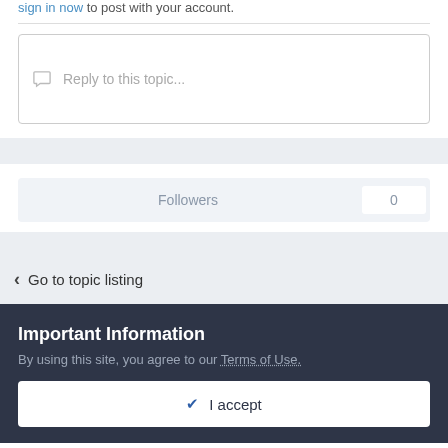sign in now to post with your account.
Reply to this topic...
Followers 0
< Go to topic listing
Important Information
By using this site, you agree to our Terms of Use.
✔ I accept